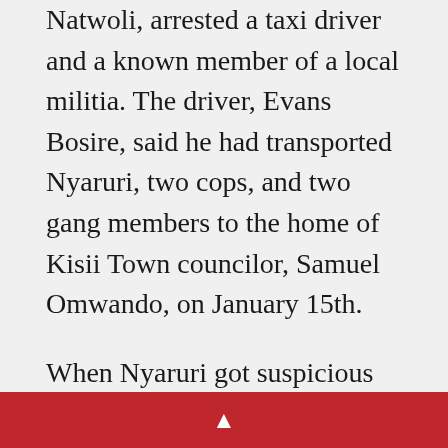Natwoli, arrested a taxi driver and a known member of a local militia. The driver, Evans Bosire, said he had transported Nyaruri, two cops, and two gang members to the home of Kisii Town councilor, Samuel Omwando, on January 15th.
When Nyaruri got suspicious on the way and tried to get off, one police man hit him. Then they dragged him into Omwando's backyard, and tortured him to death. Bosire was later released and then he disappeared too. Natwoli himself was threatened with disciplinary
▲